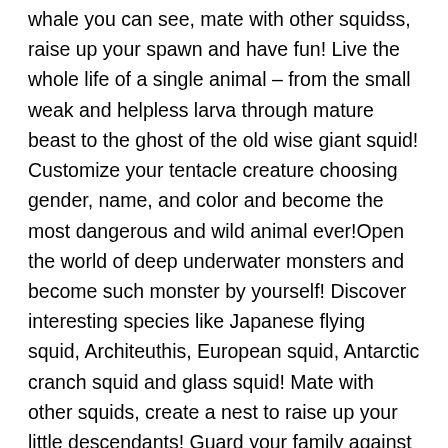whale you can see, mate with other squidss, raise up your spawn and have fun! Live the whole life of a single animal – from the small weak and helpless larva through mature beast to the ghost of the old wise giant squid! Customize your tentacle creature choosing gender, name, and color and become the most dangerous and wild animal ever!Open the world of deep underwater monsters and become such monster by yourself! Discover interesting species like Japanese flying squid, Architeuthis, European squid, Antarctic cranch squid and glass squid! Mate with other squids, create a nest to raise up your little descendants! Guard your family against cruel predators and survive – this is your real mission for today!Don't forget to mind your hunger and health indicators – if one of them drops, you'll find yourself dead! Power-up your squid's skills to make your underwater life really safe and protect your pack! Enjoy the underwater adventures playing Squid Underwater Life Sim